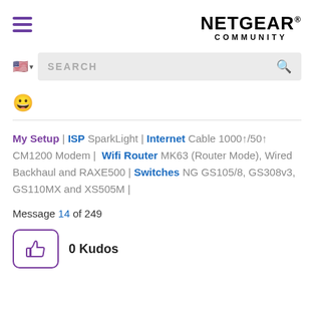NETGEAR COMMUNITY
[Figure (screenshot): Search bar with US flag dropdown and search icon on grey background]
[Figure (other): Grinning face emoji 😀]
My Setup | ISP SparkLight | Internet Cable 1000↑/50↑ CM1200 Modem | Wifi Router MK63 (Router Mode), Wired Backhaul and RAXE500 | Switches NG GS105/8, GS308v3, GS110MX and XS505M |
Message 14 of 249
0 Kudos